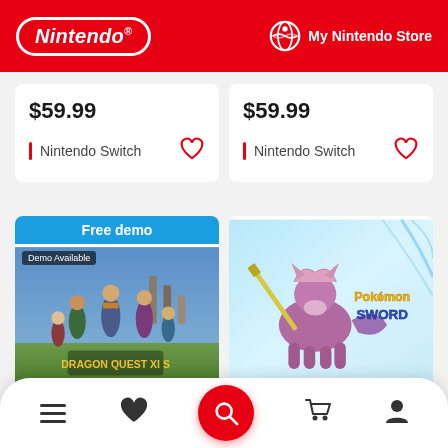Nintendo | My Nintendo Store
$59.99 | Nintendo Switch
$59.99 | Nintendo Switch
[Figure (screenshot): Dragon Quest XI S: Echoes of an Elusive Age game card with Free demo banner and Demo Available badge]
DRAGON QUEST® XI S: Echoes of an
$49.99
[Figure (screenshot): Pokémon Sword game card showing Zacian legendary Pokemon artwork]
Pokémon™ Sword
$59.99
Navigation bar: Menu, Wishlist, Search, Cart, Account